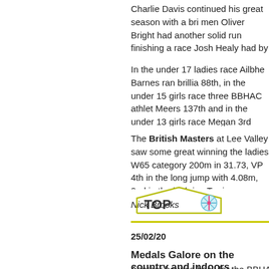Charlie Davis continued his great season with a bri men Oliver Bright had another solid run finishing a race Josh Healy had by far his best race of the sea The Kent team were 4th missing the bronze medal
In the under 17 ladies race Ailbhe Barnes ran brillia 88th, in the under 15 girls race three BBHAC athlet Meers 137th and in the under 13 girls race Megan 3rd winning team bronze.
The British Masters at Lee Valley saw some great winning the ladies W65 category 200m in 31.73, VP 4th in the long jump with 4.08m, 2nd in the high jun Terrisse vaulted to a season's best of 3.55m in winn
Nick Brooks
[Figure (logo): TOP logo: pentagon/house shape outline in olive/yellow-green with 'TOP' text and a snowflake/asterisk icon in teal and pink]
25/02/20
Medals Galore on the country and indoors
Another bounce back for the BBHAC club with 70